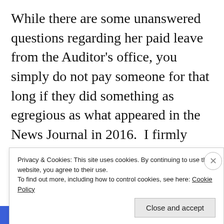While there are some unanswered questions regarding her paid leave from the Auditor's office, you simply do not pay someone for that long if they did something as egregious as what appeared in the News Journal in 2016.  I firmly believe there is much more to that than meets the eye and someone wanted her to shut up and took swift
Privacy & Cookies: This site uses cookies. By continuing to use this website, you agree to their use.
To find out more, including how to control cookies, see here: Cookie Policy
Close and accept
BROWSING